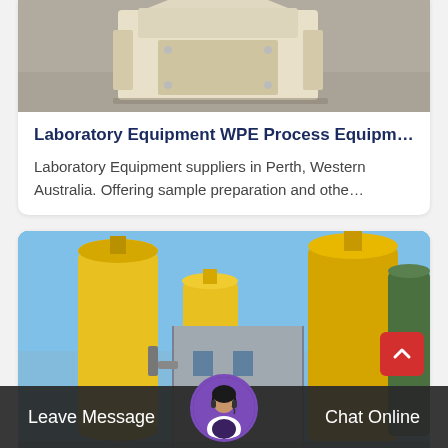[Figure (photo): Laboratory equipment - a beige/cream colored machine (jaw crusher or similar sample preparation device) on a concrete floor]
Laboratory Equipment WPE Process Equipm…
Laboratory Equipment suppliers in Perth, Western Australia. Offering sample preparation and othe…
[Figure (photo): Industrial cement plant or silo facility showing tall yellow cylindrical silos and a gray building structure against a blue sky]
Leave Message
Chat Online